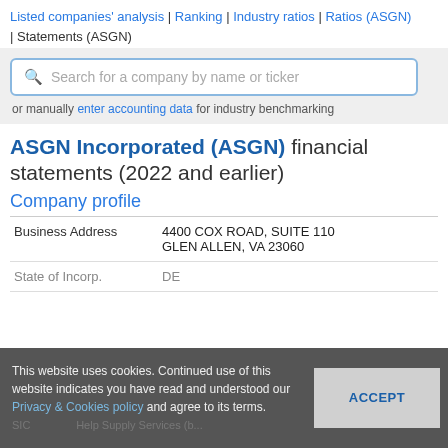Listed companies' analysis | Ranking | Industry ratios | Ratios (ASGN) | Statements (ASGN)
Search for a company by name or ticker
or manually enter accounting data for industry benchmarking
ASGN Incorporated (ASGN) financial statements (2022 and earlier)
Company profile
| Field | Value |
| --- | --- |
| Business Address | 4400 COX ROAD, SUITE 110
GLEN ALLEN, VA 23060 |
| State of Incorp. | DE |
| SIC | Help Supply Services (b... |
This website uses cookies. Continued use of this website indicates you have read and understood our Privacy & Cookies policy and agree to its terms.
ACCEPT